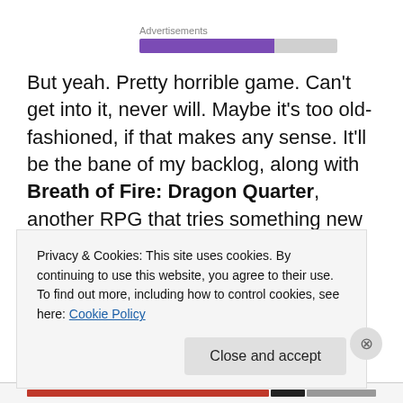Advertisements
But yeah. Pretty horrible game. Can't get into it, never will. Maybe it's too old-fashioned, if that makes any sense. It'll be the bane of my backlog, along with Breath of Fire: Dragon Quarter, another RPG that tries something new and ends up being a crawlfest.
Penny Arcade sums it all up pretty well, actually. Well
Privacy & Cookies: This site uses cookies. By continuing to use this website, you agree to their use.
To find out more, including how to control cookies, see here: Cookie Policy
Close and accept